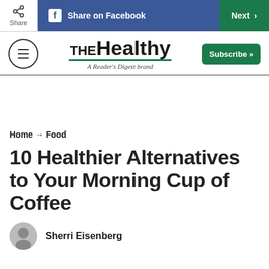Share | Share on Facebook | Next
[Figure (logo): THE Healthy - A Reader's Digest brand logo with hamburger menu and Subscribe button]
Home → Food
10 Healthier Alternatives to Your Morning Cup of Coffee
Sherri Eisenberg